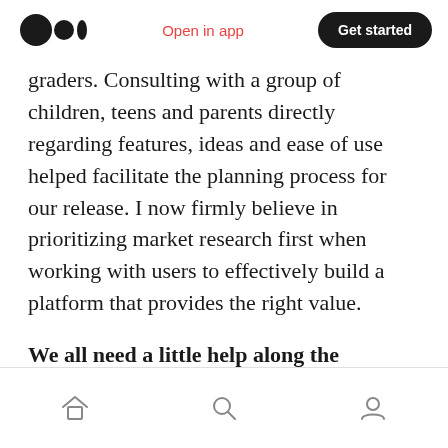Open in app | Get started
graders. Consulting with a group of children, teens and parents directly regarding features, ideas and ease of use helped facilitate the planning process for our release. I now firmly believe in prioritizing market research first when working with users to effectively build a platform that provides the right value.
We all need a little help along the journey. Who have been some of your mentors? Can you share a story about how they made an impact?
Home Search Profile